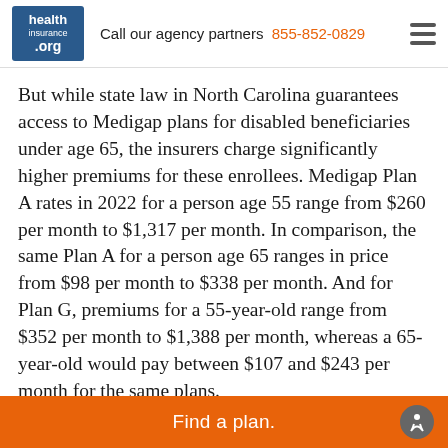healthinsurance.org — Call our agency partners 855-852-0829
But while state law in North Carolina guarantees access to Medigap plans for disabled beneficiaries under age 65, the insurers charge significantly higher premiums for these enrollees. Medigap Plan A rates in 2022 for a person age 55 range from $260 per month to $1,317 per month. In comparison, the same Plan A for a person age 65 ranges in price from $98 per month to $338 per month. And for Plan G, premiums for a 55-year-old range from $352 per month to $1,388 per month, whereas a 65-year-old would pay between $107 and $243 per month for the same plans.
Disabled Medicare beneficiaries have access to the Medigap open enrollment period when they turn
Find a plan.